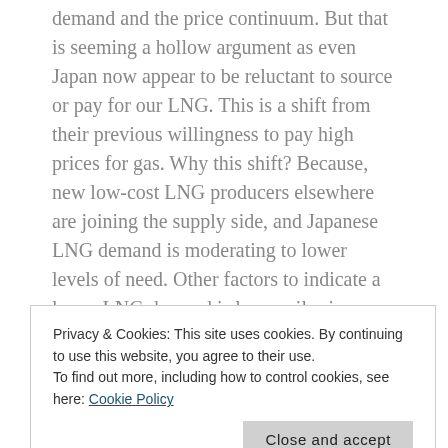demand and the price continuum. But that is seeming a hollow argument as even Japan now appear to be reluctant to source or pay for our LNG. This is a shift from their previous willingness to pay high prices for gas. Why this shift? Because, new low-cost LNG producers elsewhere are joining the supply side, and Japanese LNG demand is moderating to lower levels of need. Other factors to indicate a lower LNG demand is lower oil prices, and alternate energy sources coming in lower priced too.
Why will the demand increase in Queensland, the key to this is three projects each opting for electric compression
Privacy & Cookies: This site uses cookies. By continuing to use this website, you agree to their use.
To find out more, including how to control cookies, see here: Cookie Policy
upstream project has gas turbine driven hub compressors